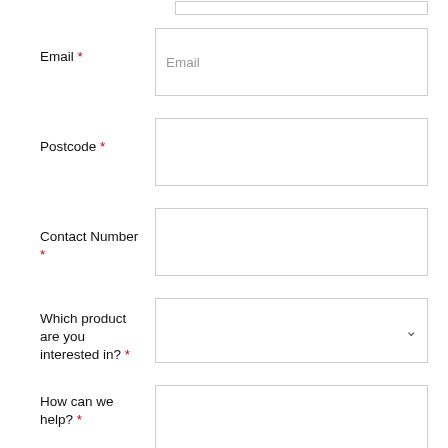Email *
Postcode *
Contact Number *
Which product are you interested in? *
How can we help? *
I would like to receive related content and promotions.